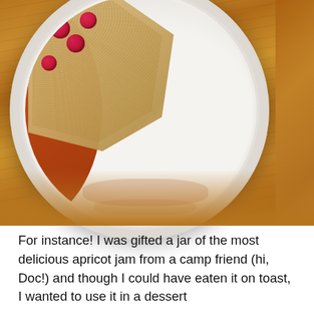[Figure (photo): A white ceramic pie dish on a wooden table, containing what appears to be an apricot jam dessert. The left half is covered with a golden crumble topping and garnished with fresh raspberries, while the right half shows the white interior of the dish with remnants of jam and crumble.]
For instance! I was gifted a jar of the most delicious apricot jam from a camp friend (hi, Doc!) and though I could have eaten it on toast, I wanted to use it in a dessert